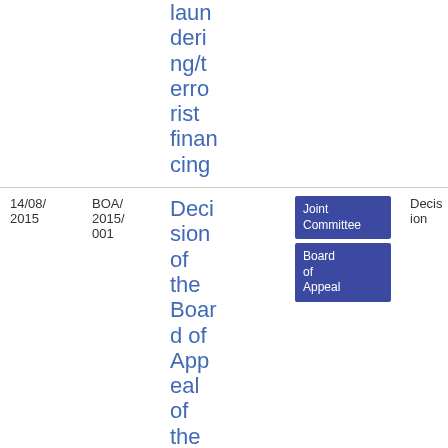| Date | Reference | Title | Tags | Type | PDF |
| --- | --- | --- | --- | --- | --- |
|  |  | laun
deri
ng/t
erro
rist
finan
cing |  |  |  |
| 14/08/
2015 | BOA/
2015/
001 | Decision of the Board of Appeal of the European Superviso… | Joint Committee
Board of Appeal | Decision | PDF
14
7.78 KB |